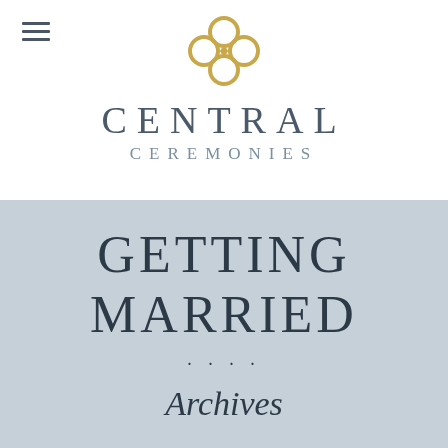[Figure (logo): Central Ceremonies logo: interlocked gold rings forming a floral/clover shape, centered at the top of the page]
CENTRAL CEREMONIES
GETTING MARRIED
· · · ·
Archives